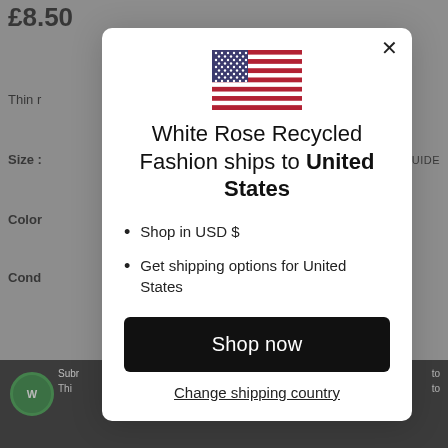£8.50
Thin r
Size :
GUIDE
Color
Cond
[Figure (screenshot): Modal dialog showing US flag, shipping information for White Rose Recycled Fashion to United States, with Shop now button and Change shipping country link]
White Rose Recycled Fashion ships to United States
Shop in USD $
Get shipping options for United States
Shop now
Change shipping country